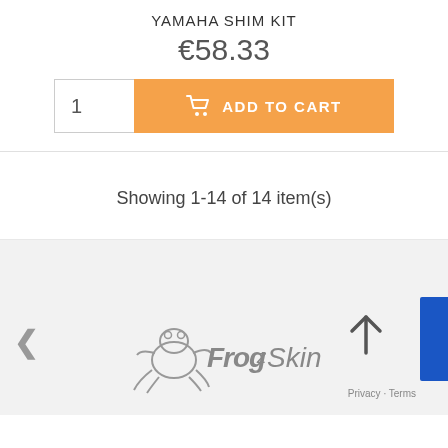YAMAHA SHIM KIT
€58.33
1  ADD TO CART
Showing 1-14 of 14 item(s)
[Figure (logo): FrogSkin brand logo with illustrated frog character]
Privacy · Terms